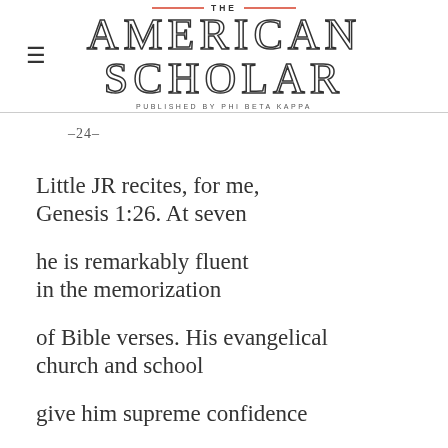THE AMERICAN SCHOLAR — PUBLISHED BY PHI BETA KAPPA
–24–
Little JR recites, for me,
Genesis 1:26. At seven

he is remarkably fluent
in the memorization

of Bible verses. His evangelical
church and school

give him supreme confidence